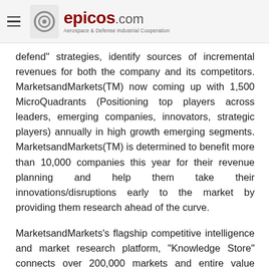epicos.com — Aerospace & Defense Industrial Cooperation
defend" strategies, identify sources of incremental revenues for both the company and its competitors. MarketsandMarkets(TM) now coming up with 1,500 MicroQuadrants (Positioning top players across leaders, emerging companies, innovators, strategic players) annually in high growth emerging segments. MarketsandMarkets(TM) is determined to benefit more than 10,000 companies this year for their revenue planning and help them take their innovations/disruptions early to the market by providing them research ahead of the curve.
MarketsandMarkets's flagship competitive intelligence and market research platform, "Knowledge Store" connects over 200,000 markets and entire value chains for deeper